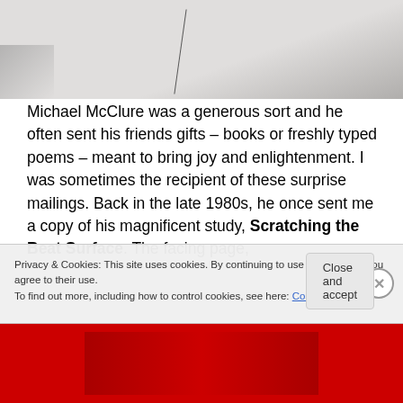[Figure (photo): Photograph of a light gray surface/wall with a faint diagonal line, shadowing in lower left corner]
Michael McClure was a generous sort and he often sent his friends gifts – books or freshly typed poems – meant to bring joy and enlightenment. I was sometimes the recipient of these surprise mailings. Back in the late 1980s, he once sent me a copy of his magnificent study, Scratching the Beat Surface. The facing page,
Privacy & Cookies: This site uses cookies. By continuing to use this website, you agree to their use.
To find out more, including how to control cookies, see here: Cookie Policy
Close and accept